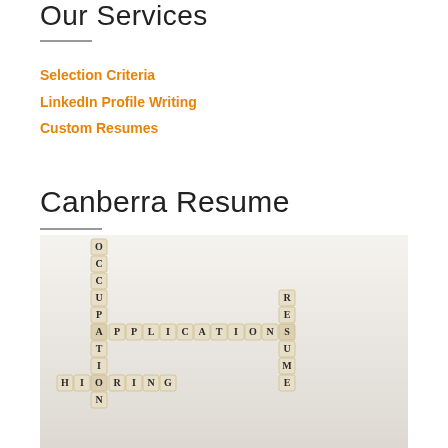Our Services
Selection Criteria
LinkedIn Profile Writing
Custom Resumes
Canberra Resume
[Figure (photo): Scrabble tiles arranged in a crossword pattern spelling out OCCUPATION, APPLICATIONS, HIRING, RESUME on a white surface]